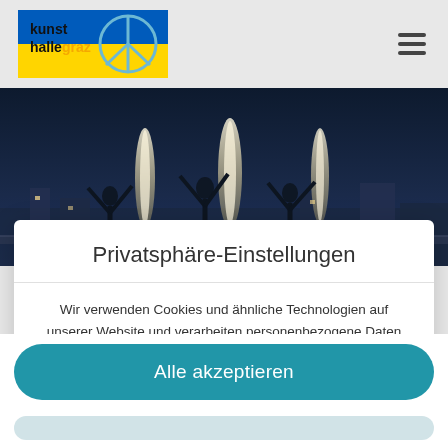[Figure (logo): Kunsthalle Graz logo with Ukrainian flag colors and peace symbol]
[Figure (photo): Night photo of people with arms raised and bright light/fire beams on a balcony or rooftop with city in background]
Privatsphäre-Einstellungen
Wir verwenden Cookies und ähnliche Technologien auf unserer Website und verarbeiten personenbezogene Daten von dir (z.B. IP-Adresse), um z.B. Inhalte und Anzeigen zu personalisieren, Medien von Drittanbietern einzubinden oder Zugriffe auf unsere Website zu analysieren. Die Datenverarbeitung kann auch erst in Folge
Alle akzeptieren